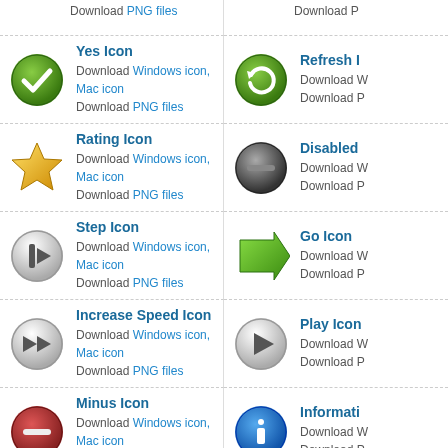Download PNG files (partial top row left)
Download (partial top row right)
Yes Icon - Download Windows icon, Mac icon - Download PNG files
Refresh Icon - Download Windows icon, Mac icon - Download PNG files
Rating Icon - Download Windows icon, Mac icon - Download PNG files
Disabled Icon - Download Windows icon, Mac icon - Download PNG files
Step Icon - Download Windows icon, Mac icon - Download PNG files
Go Icon - Download Windows icon, Mac icon - Download PNG files
Increase Speed Icon - Download Windows icon, Mac icon - Download PNG files
Play Icon - Download Windows icon, Mac icon - Download PNG files
Minus Icon - Download Windows icon, Mac icon - Download PNG files
Information Icon - Download Windows icon, Mac icon - Download PNG files
Stop Icon - Download Windows icon, Mac icon - Download PNG files
Skip Forward Icon - Download Windows icon, Mac icon - Download PNG files